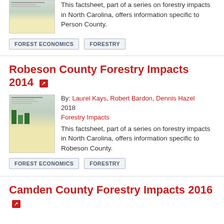This factsheet, part of a series on forestry impacts in North Carolina, offers information specific to Person County.
FOREST ECONOMICS
FORESTRY
Robeson County Forestry Impacts 2014
By: Laurel Kays, Robert Bardon, Dennis Hazel 2018 Forestry Impacts
This factsheet, part of a series on forestry impacts in North Carolina, offers information specific to Robeson County.
FOREST ECONOMICS
FORESTRY
Camden County Forestry Impacts 2016